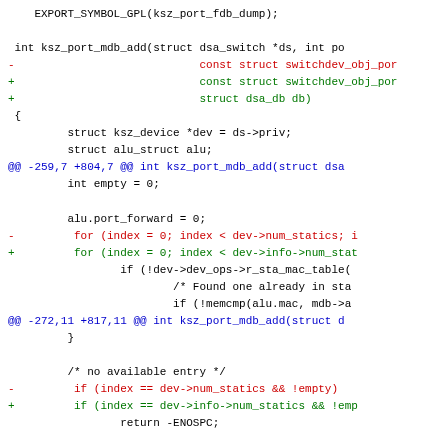[Figure (screenshot): A code diff screenshot showing C source code changes. Lines show additions (+, green) and removals (-, red) in a unified diff format for ksz_port_mdb_add and related functions.]